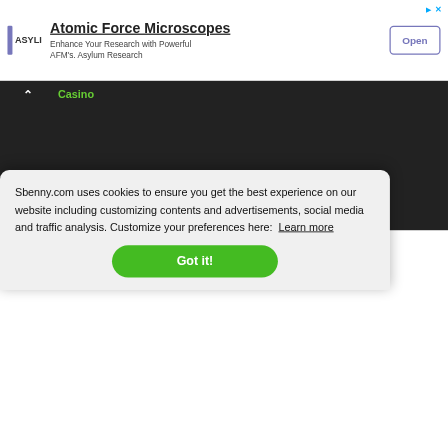[Figure (screenshot): Advertisement banner for Asylum Research Atomic Force Microscopes with logo, headline, body text, and Open button]
[Figure (screenshot): Dark background web page showing partial 'Casino' green text label, chevron up icon, and Download APK green outlined button]
Sbenny.com uses cookies to ensure you get the best experience on our website including customizing contents and advertisements, social media and traffic analysis. Customize your preferences here:  Learn more
Got it!